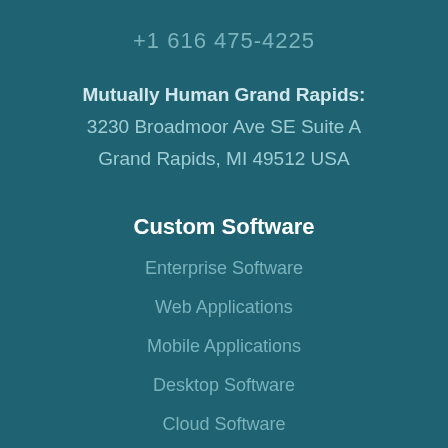+1 616 475-4225
Mutually Human Grand Rapids:
3230 Broadmoor Ave SE Suite A
Grand Rapids, MI 49512 USA
Custom Software
Enterprise Software
Web Applications
Mobile Applications
Desktop Software
Cloud Software